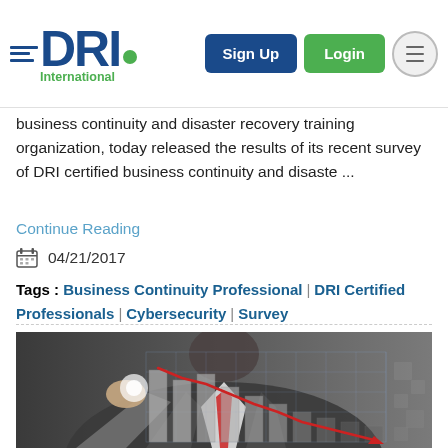DRI International — Sign Up | Login
business continuity and disaster recovery training organization, today released the results of its recent survey of DRI certified business continuity and disaste ...
Continue Reading
04/21/2017
Tags : Business Continuity Professional | DRI Certified Professionals | Cybersecurity | Survey
[Figure (photo): Businessman pointing at a glowing bar chart with a red downward trend line, representing business continuity and financial/risk analytics]